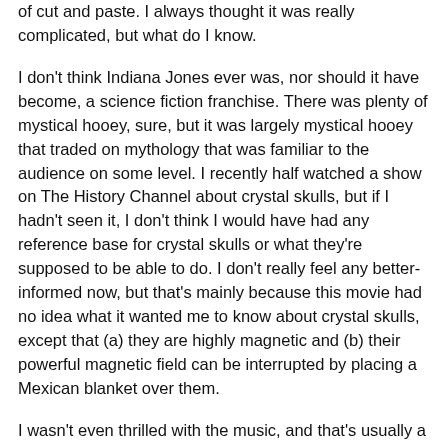of cut and paste. I always thought it was really complicated, but what do I know.
I don't think Indiana Jones ever was, nor should it have become, a science fiction franchise. There was plenty of mystical hooey, sure, but it was largely mystical hooey that traded on mythology that was familiar to the audience on some level. I recently half watched a show on The History Channel about crystal skulls, but if I hadn't seen it, I don't think I would have had any reference base for crystal skulls or what they're supposed to be able to do. I don't really feel any better-informed now, but that's mainly because this movie had no idea what it wanted me to know about crystal skulls, except that (a) they are highly magnetic and (b) their powerful magnetic field can be interrupted by placing a Mexican blanket over them.
I wasn't even thrilled with the music, and that's usually a given. In each of the other three Indy features, you've got the Raiders March, you've got the love theme, but you've also got a few themes that really capture the specific story in the film. It's Hindi Indy. Or it's Camelot Indy. But this one. I